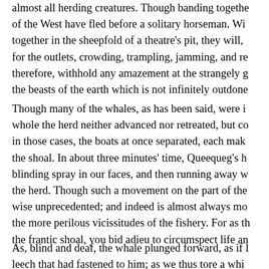almost all herding creatures. Though banding together of the West have fled before a solitary horseman. Wi together in the sheepfold of a theatre's pit, they will, for the outlets, crowding, trampling, jamming, and re therefore, withhold any amazement at the strangely g the beasts of the earth which is not infinitely outdone
Though many of the whales, as has been said, were i whole the herd neither advanced nor retreated, but co in those cases, the boats at once separated, each mak the shoal. In about three minutes' time, Queequeg's h blinding spray in our faces, and then running away w the herd. Though such a movement on the part of the wise unprecedented; and indeed is almost always mo the more perilous vicissitudes of the fishery. For as th the frantic shoal, you bid adieu to circumspect life an
As, blind and deaf, the whale plunged forward, as if l leech that had fastened to him; as we thus tore a whi